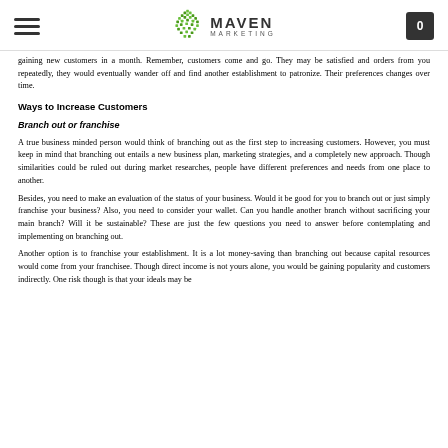Maven Marketing
gaining new customers in a month. Remember, customers come and go. They may be satisfied and orders from you repeatedly, they would eventually wander off and find another establishment to patronize. Their preferences changes over time.
Ways to Increase Customers
Branch out or franchise
A true business minded person would think of branching out as the first step to increasing customers. However, you must keep in mind that branching out entails a new business plan, marketing strategies, and a completely new approach. Though similarities could be ruled out during market researches, people have different preferences and needs from one place to another.
Besides, you need to make an evaluation of the status of your business. Would it be good for you to branch out or just simply franchise your business? Also, you need to consider your wallet. Can you handle another branch without sacrificing your main branch? Will it be sustainable? These are just the few questions you need to answer before contemplating and implementing on branching out.
Another option is to franchise your establishment. It is a lot money-saving than branching out because capital resources would come from your franchisee. Though direct income is not yours alone, you would be gaining popularity and customers indirectly. One risk though is that your ideals may be